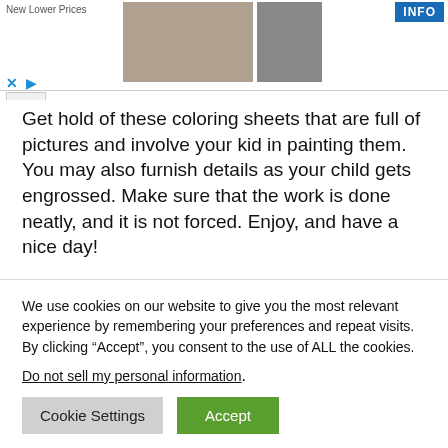[Figure (screenshot): Advertisement banner at top of page showing wedding couple photo, single male figure photo, 'New Lower Prices' text, and blue INFO button with X and play controls]
Get hold of these coloring sheets that are full of pictures and involve your kid in painting them. You may also furnish details as your child gets engrossed. Make sure that the work is done neatly, and it is not forced. Enjoy, and have a nice day!
Timmy Time Coloring Pages, TV & Film Coloring Pages, colouring sheets, free, online, pictures
We use cookies on our website to give you the most relevant experience by remembering your preferences and repeat visits. By clicking “Accept”, you consent to the use of ALL the cookies.
Do not sell my personal information.